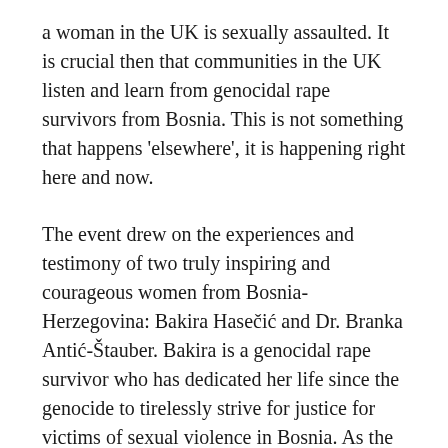a woman in the UK is sexually assaulted. It is crucial then that communities in the UK listen and learn from genocidal rape survivors from Bosnia. This is not something that happens 'elsewhere', it is happening right here and now.
The event drew on the experiences and testimony of two truly inspiring and courageous women from Bosnia-Herzegovina: Bakira Hasečić and Dr. Branka Antić-Štauber. Bakira is a genocidal rape survivor who has dedicated her life since the genocide to tirelessly strive for justice for victims of sexual violence in Bosnia. As the President of Women Victims of War, Bakira is a beacon of hope and resistance against those who wish to silence sexual violence survivors.